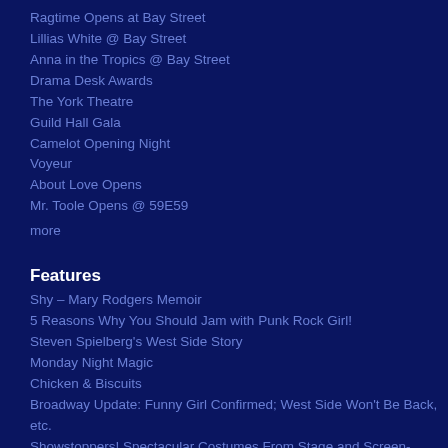Ragtime Opens at Bay Street
Lillias White @ Bay Street
Anna in the Tropics @ Bay Street
Drama Desk Awards
The York Theatre
Guild Hall Gala
Camelot Opening Night
Voyeur
About Love Opens
Mr. Toole Opens @ 59E59
more
Features
Shy – Mary Rodgers Memoir
5 Reasons Why You Should Jam with Punk Rock Girl!
Steven Spielberg's West Side Story
Monday Night Magic
Chicken & Biscuits
Broadway Update: Funny Girl Confirmed; West Side Won't Be Back, etc.
Showstoppers! Spectacular Costumes From Stage and Screen-Wonderful!
Happenings
Mostly Modern Projects
Paul Huntley